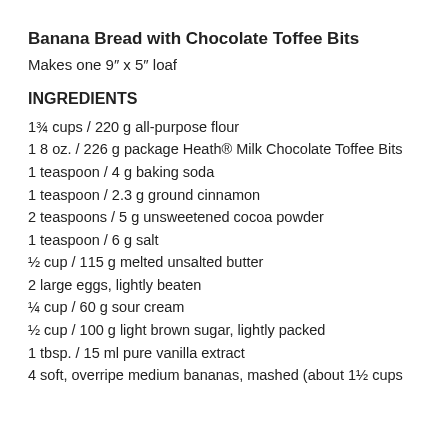Banana Bread with Chocolate Toffee Bits
Makes one 9” x 5” loaf
INGREDIENTS
1¾ cups / 220 g all-purpose flour
1 8 oz. / 226 g package Heath® Milk Chocolate Toffee Bits
1 teaspoon / 4 g baking soda
1 teaspoon / 2.3 g ground cinnamon
2 teaspoons / 5 g unsweetened cocoa powder
1 teaspoon / 6 g salt
½ cup / 115 g melted unsalted butter
2 large eggs, lightly beaten
¼ cup / 60 g sour cream
½ cup / 100 g light brown sugar, lightly packed
1 tbsp. / 15 ml pure vanilla extract
4 soft, overripe medium bananas, mashed (about 1½ cups